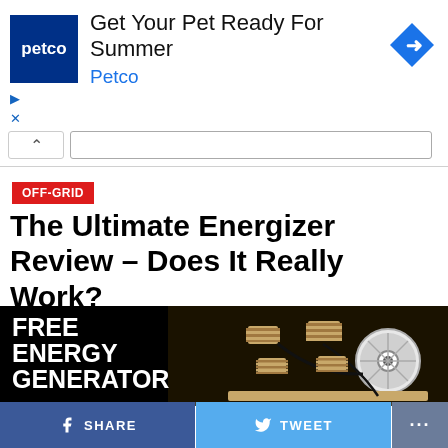[Figure (screenshot): Petco advertisement banner: Petco logo on left, text 'Get Your Pet Ready For Summer' and 'Petco' below, blue diamond navigation icon on right]
[Figure (screenshot): Browser UI element: chevron/collapse button and address bar input]
OFF-GRID
The Ultimate Energizer Review – Does It Really Work?
[Figure (photo): Black background image with text 'FREE ENERGY GENERATOR' on left and a 3D rendered mechanical device/generator in center-right]
SHARE   TWEET   ...